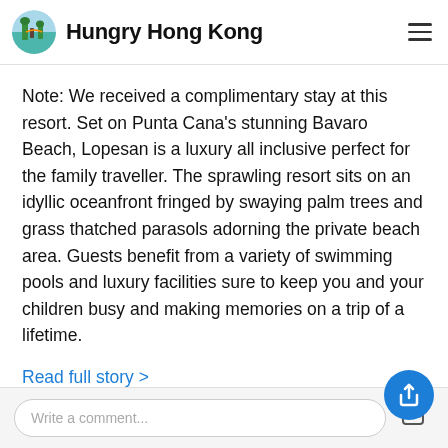Hungry Hong Kong
Note: We received a complimentary stay at this resort. Set on Punta Cana's stunning Bavaro Beach, Lopesan is a luxury all inclusive perfect for the family traveller. The sprawling resort sits on an idyllic oceanfront fringed by swaying palm trees and grass thatched parasols adorning the private beach area. Guests benefit from a variety of swimming pools and luxury facilities sure to keep you and your children busy and making memories on a trip of a lifetime.
Read full story >
Share
Write a comment...